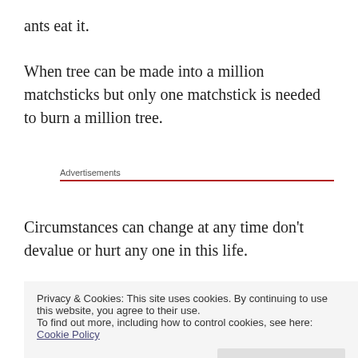ants eat it.
When tree can be made into a million matchsticks but only one matchstick is needed to burn a million tree.
Advertisements
Circumstances can change at any time don't devalue or hurt any one in this life.
God will surely give you reward it depends on your
Privacy & Cookies: This site uses cookies. By continuing to use this website, you agree to their use. To find out more, including how to control cookies, see here: Cookie Policy
Close and accept
This is your karma you do not understand now but